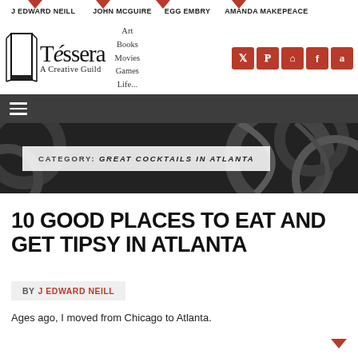J EDWARD NEILL   JOHN MCGUIRE   EGG EMBRY   AMANDA MAKEPEACE
[Figure (logo): Tessera A Creative Guild logo with book icon and navigation links (Art, Books, Movies, Games, Life...) and social media icons (Twitter, Pinterest, RSS, Facebook, Amazon)]
≡
[Figure (photo): Dark abstract textured background with circular patterns]
CATEGORY: GREAT COCKTAILS IN ATLANTA
10 GOOD PLACES TO EAT AND GET TIPSY IN ATLANTA
BY J EDWARD NEILL
Ages ago, I moved from Chicago to Atlanta.